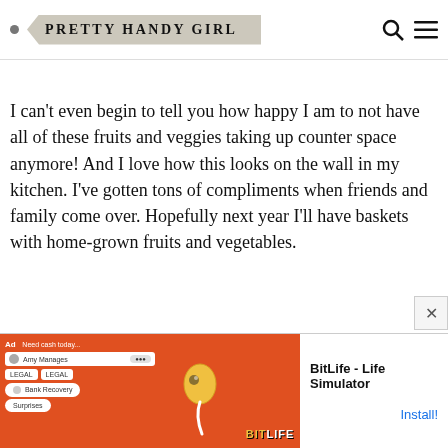PRETTY HANDY GIRL
I can't even begin to tell you how happy I am to not have all of these fruits and veggies taking up counter space anymore!  And I love how this looks on the wall in my kitchen.  I've gotten tons of compliments when friends and family come over.  Hopefully next year I'll have baskets with home-grown fruits and vegetables.
[Figure (screenshot): Advertisement banner for BitLife - Life Simulator app with red background, game character icon, and Install! button]